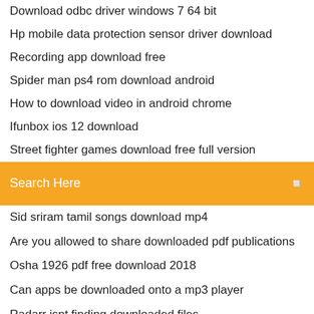Download odbc driver windows 7 64 bit
Hp mobile data protection sensor driver download
Recording app download free
Spider man ps4 rom download android
How to download video in android chrome
Ifunbox ios 12 download
Street fighter games download free full version
[Figure (screenshot): Orange search bar with text 'Search Here' and a small icon on the right]
Sid sriram tamil songs download mp4
Are you allowed to share downloaded pdf publications
Osha 1926 pdf free download 2018
Can apps be downloaded onto a mp3 player
Radarr isnt finding downloaded files
Download microsoft train simulator for pc
Download shazam torrent legendado
Splatoon 2 switch for pc download
Ken burns the vietnam war torrent download
Download ios 12.1.1 simulator